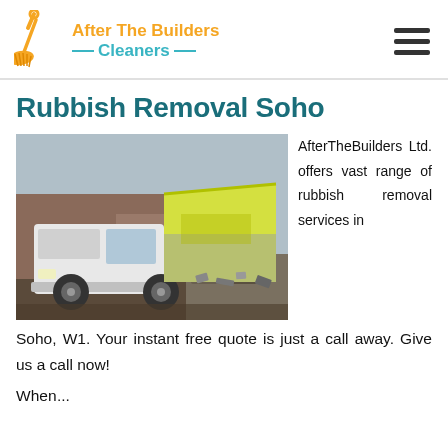[Figure (logo): After The Builders Cleaners logo with broom/wrench icon, orange and teal text]
Rubbish Removal Soho
[Figure (photo): A white Mitsubishi truck with yellow and grey skip/tipper body, dumping rubbish at a demolition site]
AfterTheBuilders Ltd. offers vast range of rubbish removal services in Soho, W1. Your instant free quote is just a call away. Give us a call now!
When...